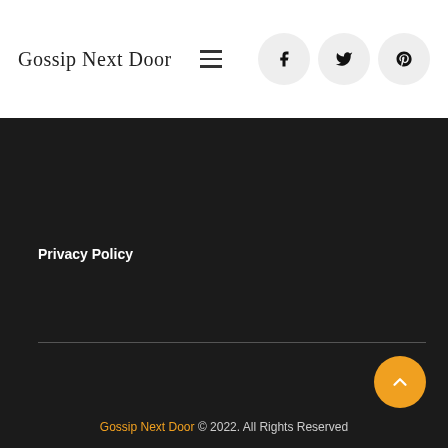Gossip Next Door
Privacy Policy
Gossip Next Door © 2022. All Rights Reserved